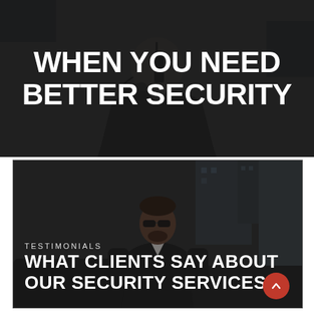[Figure (photo): Dark background image of a security guard/man in suit holding a walkie-talkie radio to his mouth, with a dark overlay. Bold white headline text overlaid.]
WHEN YOU NEED BETTER SECURITY
[Figure (photo): Background image of a man in a black suit wearing sunglasses standing in front of a car in an urban setting, with a dark overlay. Contains section label 'TESTIMONIALS' and headline text overlaid. Red circle arrow button in bottom right.]
TESTIMONIALS
WHAT CLIENTS SAY ABOUT OUR SECURITY SERVICES